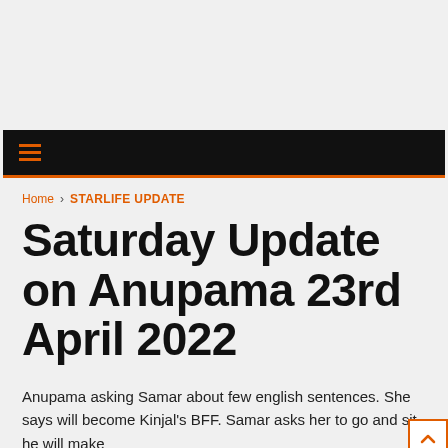≡ (navigation bar)
Home › STARLIFE UPDATE
Saturday Update on Anupama 23rd April 2022
Anupama asking Samar about few english sentences. She says will become Kinjal's BFF. Samar asks her to go and sit, he will make